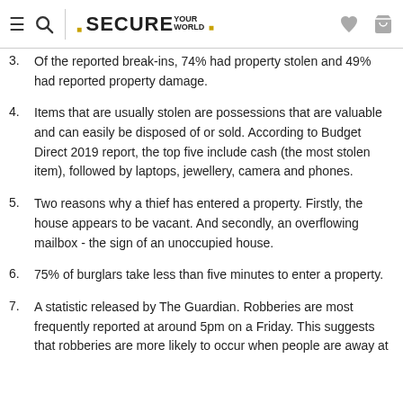SECURE YOUR WORLD
3. Of the reported break-ins, 74% had property stolen and 49% had reported property damage.
4. Items that are usually stolen are possessions that are valuable and can easily be disposed of or sold. According to Budget Direct 2019 report, the top five include cash (the most stolen item), followed by laptops, jewellery, camera and phones.
5. Two reasons why a thief has entered a property. Firstly, the house appears to be vacant. And secondly, an overflowing mailbox - the sign of an unoccupied house.
6. 75% of burglars take less than five minutes to enter a property.
7. A statistic released by The Guardian. Robberies are most frequently reported at around 5pm on a Friday. This suggests that robberies are more likely to occur when people are away at